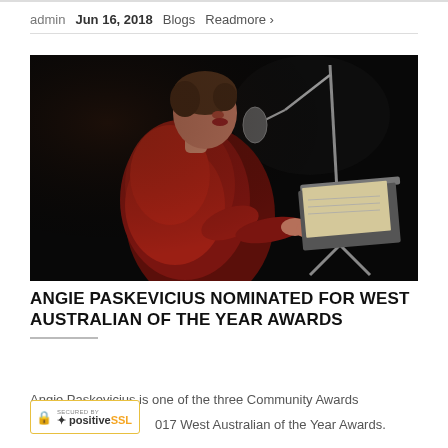admin  Jun 16, 2018  Blogs  Readmore >
[Figure (photo): Woman in red jacket speaking at a podium/lectern with microphone, photographed against a dark/black background, side profile view]
ANGIE PASKEVICIUS NOMINATED FOR WEST AUSTRALIAN OF THE YEAR AWARDS
Angie Paskevicius is one of the three Community Awards 017 West Australian of the Year Awards.